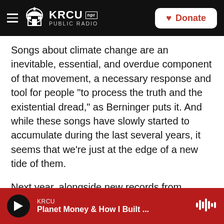KRCU PUBLIC RADIO | Donate
Songs about climate change are an inevitable, essential, and overdue component of that movement, a necessary response and tool for people "to process the truth and the existential dread," as Berninger puts it. And while these songs have slowly started to accumulate during the last several years, it seems that we're just at the edge of a new tide of them.
Next year, alongside new records from Sylvan Esso and The Weather Station, Grimes — a fringe pop star who has delighted in dancing at the edge of accessibility for a decade — will release Miss
KRCU | Planet Money & How I Built ...